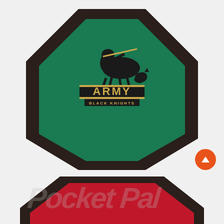[Figure (illustration): Army Black Knights game table felt product image showing an octagonal poker/game table top with dark brown/black border and green felt center featuring the Army Black Knights logo (knight on horseback with ARMY BLACK KNIGHTS text)]
ARMY BLACK KNIGHTS – GAME TABLE FELT (A)
$215.00 – $255.00
[Figure (illustration): Partial view of another game table felt product with dark border and red felt center]